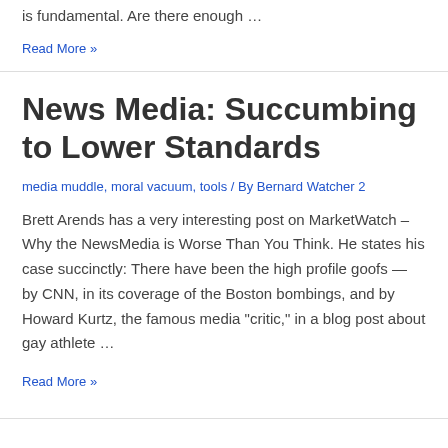is fundamental. Are there enough …
Read More »
News Media: Succumbing to Lower Standards
media muddle, moral vacuum, tools / By Bernard Watcher 2
Brett Arends has a very interesting post on MarketWatch – Why the NewsMedia is Worse Than You Think. He states his case succinctly: There have been the high profile goofs — by CNN, in its coverage of the Boston bombings, and by Howard Kurtz, the famous media "critic," in a blog post about gay athlete …
Read More »